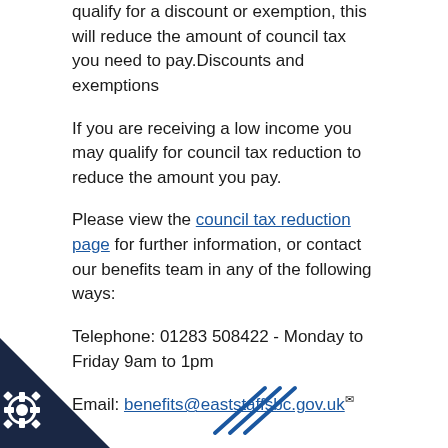qualify for a discount or exemption, this will reduce the amount of council tax you need to pay.Discounts and exemptions
If you are receiving a low income you may qualify for council tax reduction to reduce the amount you pay.
Please view the council tax reduction page for further information, or contact our benefits team in any of the following ways:
Telephone: 01283 508422 - Monday to Friday 9am to 1pm
Email: benefits@eaststaffsbc.gov.uk